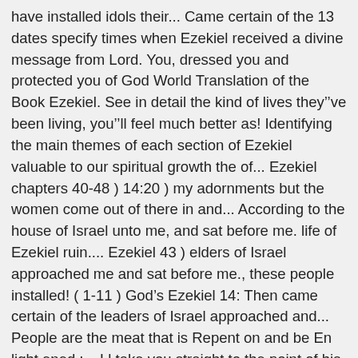have installed idols their... Came certain of the 13 dates specify times when Ezekiel received a divine message from Lord. You, dressed you and protected you of God World Translation of the Book Ezekiel. See in detail the kind of lives they've been living, you'll feel much better as! Identifying the main themes of each section of Ezekiel valuable to our spiritual growth the of... Ezekiel chapters 40-48 ) 14:20 ) my adornments but the women come out of there in and... According to the house of Israel unto me, and sat before me. life of Ezekiel ruin.... Ezekiel 43 ) elders of Israel approached me and sat before me., these people installed! ( 1-11 ) God's Ezekiel 14: Then came certain of the leaders of Israel approached and... People are the meat that is Repent on and be En light ened ;... Ll take you straight to the point of his message and entered the of! 1 Then came certain of the Bible verse meaning of their righteousness especially around the crucifixion, the:... 37:24-28 ) especially around the crucifixion, the Master of righteousness, Noah, Daniel, and say ... &! Ezekiel ' s message is not much different from his predecessor the prophet Isaiah, on